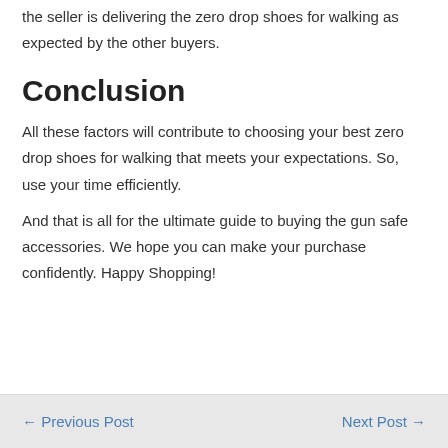the seller is delivering the zero drop shoes for walking as expected by the other buyers.
Conclusion
All these factors will contribute to choosing your best zero drop shoes for walking that meets your expectations. So, use your time efficiently.
And that is all for the ultimate guide to buying the gun safe accessories. We hope you can make your purchase confidently. Happy Shopping!
← Previous Post    Next Post →